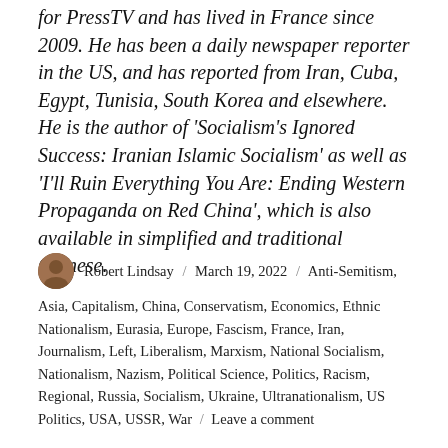for PressTV and has lived in France since 2009. He has been a daily newspaper reporter in the US, and has reported from Iran, Cuba, Egypt, Tunisia, South Korea and elsewhere. He is the author of 'Socialism's Ignored Success: Iranian Islamic Socialism' as well as 'I'll Ruin Everything You Are: Ending Western Propaganda on Red China', which is also available in simplified and traditional Chinese.
Robert Lindsay / March 19, 2022 / Anti-Semitism, Asia, Capitalism, China, Conservatism, Economics, Ethnic Nationalism, Eurasia, Europe, Fascism, France, Iran, Journalism, Left, Liberalism, Marxism, National Socialism, Nationalism, Nazism, Political Science, Politics, Racism, Regional, Russia, Socialism, Ukraine, Ultranationalism, US Politics, USA, USSR, War / Leave a comment